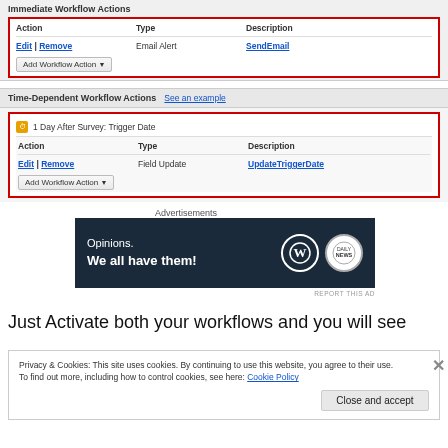Immediate Workflow Actions
| Action | Type | Description |
| --- | --- | --- |
| Edit | Remove | Email Alert | SendEmail |
Add Workflow Action ▾
Time-Dependent Workflow Actions
See an example
| Action | Type | Description |
| --- | --- | --- |
| Edit | Remove | Field Update | UpdateTriggerDate |
Add Workflow Action ▾
Advertisements
[Figure (other): Advertisement banner: Opinions. We all have them! with WordPress and another logo on dark navy background]
REPORT THIS AD
Just Activate both your workflows and you will see
Privacy & Cookies: This site uses cookies. By continuing to use this website, you agree to their use.
To find out more, including how to control cookies, see here: Cookie Policy
Close and accept